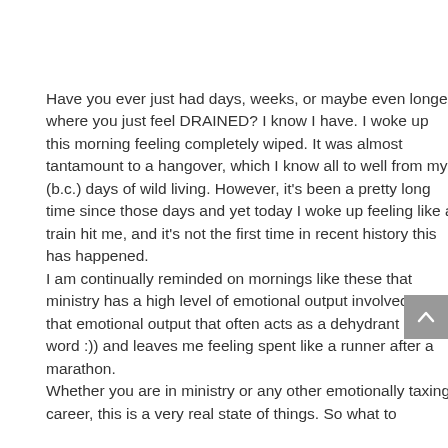Have you ever just had days, weeks, or maybe even longer where you just feel DRAINED? I know I have. I woke up this morning feeling completely wiped. It was almost tantamount to a hangover, which I know all to well from my (b.c.) days of wild living. However, it's been a pretty long time since those days and yet today I woke up feeling like a train hit me, and it's not the first time in recent history this has happened.
I am continually reminded on mornings like these that ministry has a high level of emotional output involved. It is that emotional output that often acts as a dehydrant (new word :)) and leaves me feeling spent like a runner after a marathon.
Whether you are in ministry or any other emotionally taxing career, this is a very real state of things. So what to do?